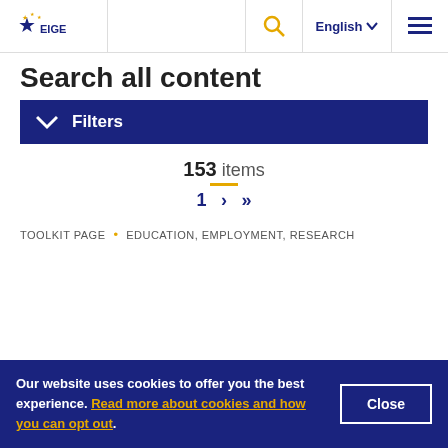EIGE — English — Menu
Search all content
Filters
153 items
1 > >>
TOOLKIT PAGE • EDUCATION, EMPLOYMENT, RESEARCH
Our website uses cookies to offer you the best experience. Read more about cookies and how you can opt out.